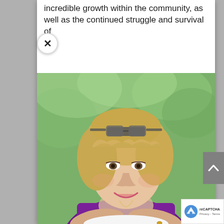incredible growth within the community, as well as the continued struggle and survival of
[Figure (photo): Portrait photograph of a middle-aged woman with blonde hair and sunglasses pushed up on her head, wearing a purple jacket, smiling, with a green bokeh background.]